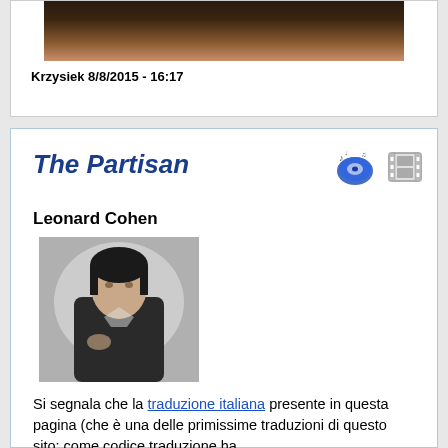Krzysiek 8/8/2015 - 16:17
[Figure (photo): Partial view of a dark-toned photograph at the top of the page]
The Partisan
[Figure (illustration): Music note and film reel icons]
Leonard Cohen
[Figure (photo): Black and white photograph of Leonard Cohen]
Si segnala che la traduzione italiana presente in questa pagina (che è una delle primissime traduzioni di questo sito: come codice traduzione ha